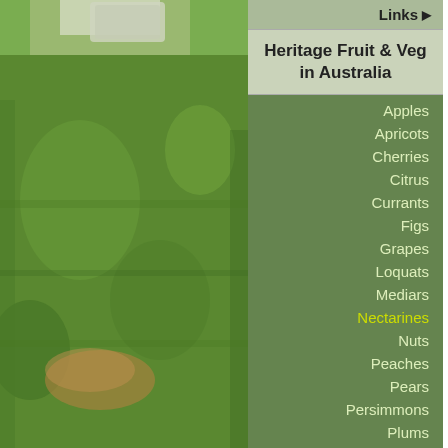[Figure (photo): Grass lawn garden photo background on the left side of the page]
Heritage Fruit & Veg in Australia
Links
Apples
Apricots
Cherries
Citrus
Currants
Figs
Grapes
Loquats
Mediars
Nectarines
Nuts
Peaches
Pears
Persimmons
Plums
Potatoes
AUGUST RED (Listed o...
BONZA <GBRS>
BUCKLE <Bathurst>
CARDINEL Medium size... Ripens ten days before E...
CAVALIER <<Ausbuds>...
CHEROKEE <<Ausbuds...
COWRA <Bathurst>
DELICIOUS <<Ausbuds...
DIXIE RED <<Ausbuds>>...
EARLIBLAZE <<Ausbud...
EARLY DIAMOND (Listed...
EARLY NECT. FORBES ...
EARLY SUNGRAND INF... <GBRS>
EARLY RIVERS Very la... early. [Goodmans1914] <...